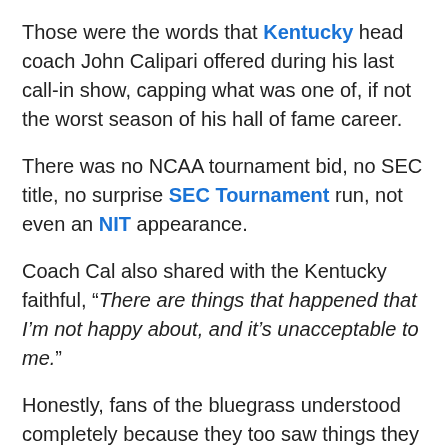Those were the words that Kentucky head coach John Calipari offered during his last call-in show, capping what was one of, if not the worst season of his hall of fame career.
There was no NCAA tournament bid, no SEC title, no surprise SEC Tournament run, not even an NIT appearance.
Coach Cal also shared with the Kentucky faithful, “There are things that happened that I’m not happy about, and it’s unacceptable to me.”
Honestly, fans of the bluegrass understood completely because they too saw things they were not happy about and to say they were unacceptable was an understatement.